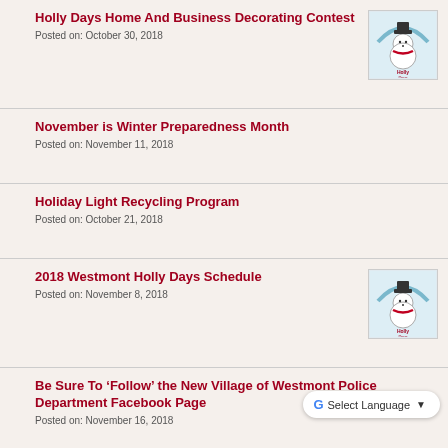Holly Days Home And Business Decorating Contest
Posted on: October 30, 2018
[Figure (logo): Holly Days snowman logo]
November is Winter Preparedness Month
Posted on: November 11, 2018
Holiday Light Recycling Program
Posted on: October 21, 2018
2018 Westmont Holly Days Schedule
Posted on: November 8, 2018
[Figure (logo): Holly Days snowman logo]
Be Sure To ‘Follow’ the New Village of Westmont Police Department Facebook Page
Posted on: November 16, 2018
Cooking Oil Recycling Event Nov. 24
Posted on: November 20, 2018
[Figure (logo): Green recycling logo]